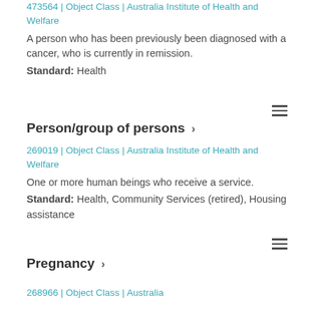473564 | Object Class | Australia Institute of Health and Welfare
A person who has been previously been diagnosed with a cancer, who is currently in remission.
Standard: Health
[Figure (other): Hamburger menu icon (three horizontal lines)]
Person/group of persons ›
269019 | Object Class | Australia Institute of Health and Welfare
One or more human beings who receive a service.
Standard: Health, Community Services (retired), Housing assistance
[Figure (other): Hamburger menu icon (three horizontal lines)]
Pregnancy ›
268966 | Object Class | Australia